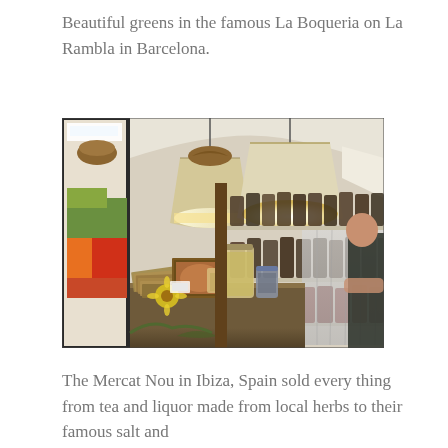Beautiful greens in the famous La Boqueria on La Rambla in Barcelona.
[Figure (photo): Interior of a market stall at La Boqueria or similar market, showing hanging pendant lamps, shelves lined with glass jars of spices and herbs, a wooden display counter with packaged goods, and a person visible on the right side. In the background, a colorful produce market is visible through the storefront opening.]
The Mercat Nou in Ibiza, Spain sold every thing from tea and liquor made from local herbs to their famous salt and